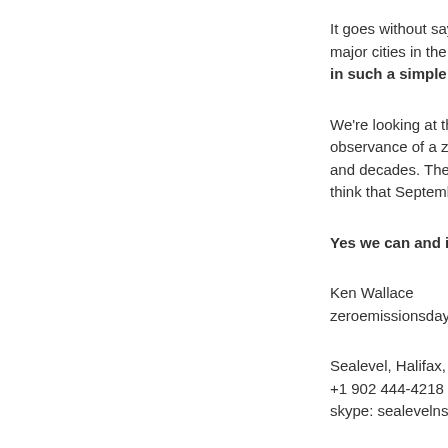It goes without saying major cities in the US in such a simple wa
We're looking at the observance of a zero and decades. There think that September
Yes we can and it w
Ken Wallace
zeroemissionsday.or
Sealevel, Halifax, No
+1 902 444-4218
skype: sealevelns